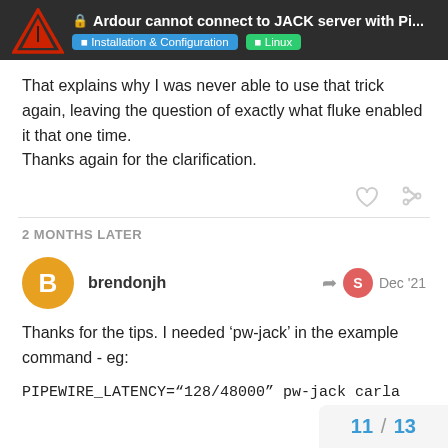Ardour cannot connect to JACK server with Pi... | Installation & Configuration | Linux
That explains why I was never able to use that trick again, leaving the question of exactly what fluke enabled it that one time.
Thanks again for the clarification.
2 MONTHS LATER
brendonjh   Dec '21
Thanks for the tips. I needed ‘pw-jack’ in the example command - eg:

PIPEWIRE_LATENCY="128/48000" pw-jack carla
11 / 13